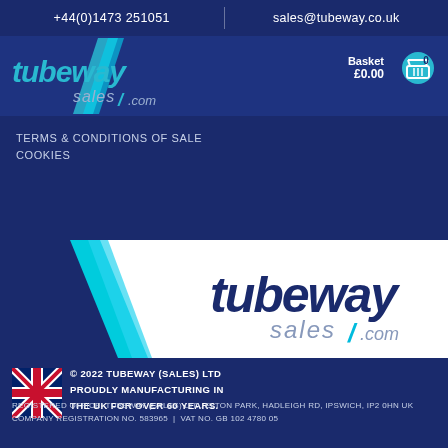+44(0)1473 251051   sales@tubeway.co.uk
[Figure (logo): Tubeway Sales .com logo in white/cyan on dark blue header band]
Basket £0.00   0
TERMS & CONDITIONS OF SALE
COOKIES
[Figure (logo): Large Tubeway Sales .com logo in dark blue/cyan on white middle banner]
© 2022 TUBEWAY (SALES) LTD  PROUDLY MANUFACTURING IN THE UK FOR OVER 60 YEARS.  REGISTERED OFFICE: TUBEWAY (SALES) LTD. ELTON PARK, HADLEIGH RD, IPSWICH, IP2 0HN UK  COMPANY REGISTRATION NO. 583965  |  VAT NO. GB 102 4780 05